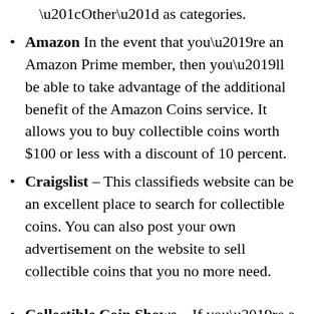“Other” as categories.
Amazon In the event that you’re an Amazon Prime member, then you’ll be able to take advantage of the additional benefit of the Amazon Coins service. It allows you to buy collectible coins worth $100 or less with a discount of 10 percent.
Craigslist – This classifieds website can be an excellent place to search for collectible coins. You can also post your own advertisement on the website to sell collectible coins that you no more need.
Collectible Coin Shows – If you’re a serious collector of coins, then you must